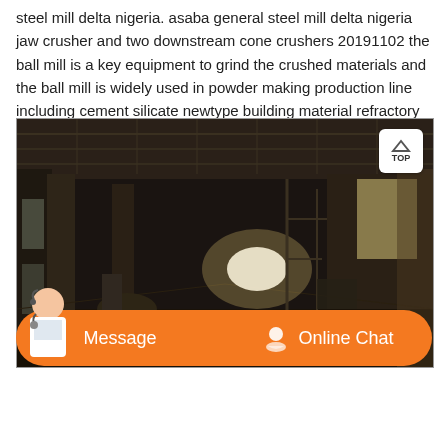steel mill delta nigeria. asaba general steel mill delta nigeria jaw crusher and two downstream cone crushers 20191102 the ball mill is a key equipment to grind the crushed materials and the ball mill is widely used in powder making production line including cement silicate newtype building material refractory material ...
[Figure (photo): Interior of a large industrial factory or warehouse building, dimly lit, with concrete columns, metal roof structure, industrial equipment and machinery visible in the background, a bright light source visible in the middle distance.]
Message  Online Chat